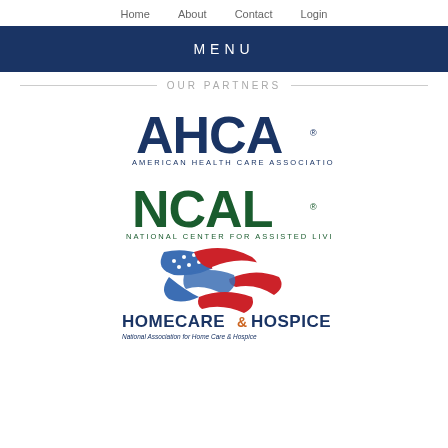Home   About   Contact   Login
MENU
OUR PARTNERS
[Figure (logo): AHCA - American Health Care Association logo in dark blue with large bold letters AHCA and smaller text below]
[Figure (logo): NCAL - National Center for Assisted Living logo in dark green with large bold letters NCAL and smaller text below]
[Figure (logo): Homecare & Hospice - National Association for Home Care & Hospice logo with American flag wave graphic above text]